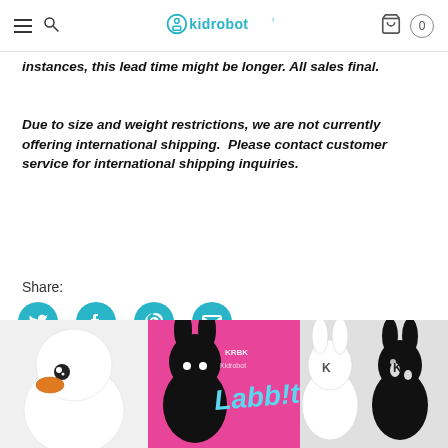kidrobot - navigation header with hamburger, search, logo, cart
instances, this lead time might be longer. All sales final.
Due to size and weight restrictions, we are not currently offering international shipping.  Please contact customer service for international shipping inquiries.
Share:
[Figure (infographic): Social share icons: Twitter (bird), Facebook (f), Pinterest (p), Email (envelope) in teal/cyan color]
[Figure (photo): Kidrobot product image showing colorful vinyl toy figures including a duck and Labbit rabbit figures in black, white, and pink]